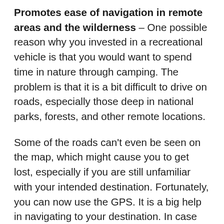Promotes ease of navigation in remote areas and the wilderness – One possible reason why you invested in a recreational vehicle is that you would want to spend time in nature through camping. The problem is that it is a bit difficult to drive on roads, especially those deep in national parks, forests, and other remote locations.
Some of the roads can't even be seen on the map, which might cause you to get lost, especially if you are still unfamiliar with your intended destination. Fortunately, you can now use the GPS. It is a big help in navigating to your destination. In case you get lost, it can instruct you on how you can reach the closest highway or primary thoroughfare.
There are indeed several benefits out of owning the right RV GPS. Aside from the ones already mentioned, you can also use the system to figure out weather